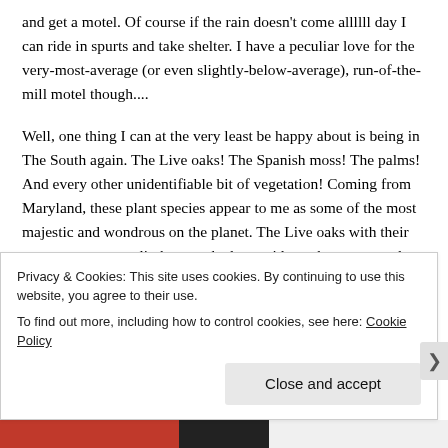and get a motel. Of course if the rain doesn't come allllll day I can ride in spurts and take shelter. I have a peculiar love for the very-most-average (or even slightly-below-average), run-of-the-mill motel though....
Well, one thing I can at the very least be happy about is being in The South again. The Live oaks! The Spanish moss! The palms! And every other unidentifiable bit of vegetation! Coming from Maryland, these plant species appear to me as some of the most majestic and wondrous on the planet. The Live oaks with their enormous crowns, limbs stretched out wide so that you wonder how it is that the
Privacy & Cookies: This site uses cookies. By continuing to use this website, you agree to their use.
To find out more, including how to control cookies, see here: Cookie Policy
Close and accept